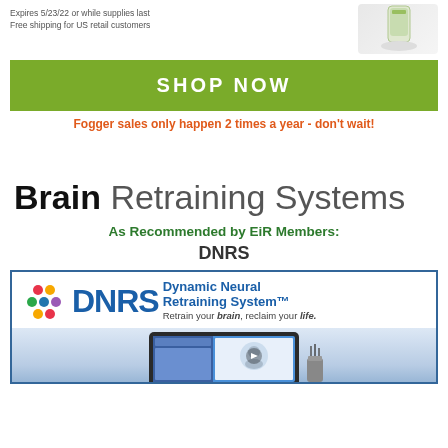Expires 5/23/22 or while supplies last
Free shipping for US retail customers
[Figure (photo): Product container image on right side]
SHOP NOW
Fogger sales only happen 2 times a year - don't wait!
Brain Retraining Systems
As Recommended by EiR Members:
DNRS
[Figure (logo): DNRS Dynamic Neural Retraining System logo with tagline 'Retrain your brain, reclaim your life.' and screenshot of the DNRS website/app on a tablet]